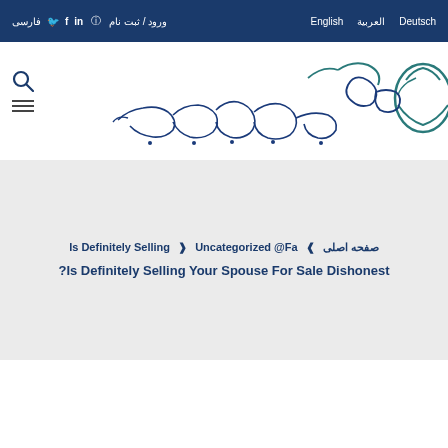ورود / ثبت نام  in f  فارسی | English | العربیة | Deutsch
[Figure (logo): Website logo with handwritten Persian/Arabic script and search icon with hamburger menu]
صفحه اصلی ❯ Is Definitely Selling ❯ Uncategorized @Fa
Is Definitely Selling Your Spouse For Sale Dishonest?